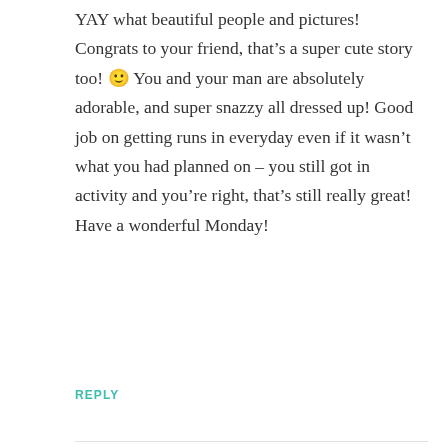YAY what beautiful people and pictures! Congrats to your friend, that's a super cute story too! 🙂 You and your man are absolutely adorable, and super snazzy all dressed up! Good job on getting runs in everyday even if it wasn't what you had planned on – you still got in activity and you're right, that's still really great! Have a wonderful Monday!
REPLY
Melissa (I Crashed the Web)
MARCH 3, 2014 AT 9:37 PM
Aww, thanks! It was such a fun weekend